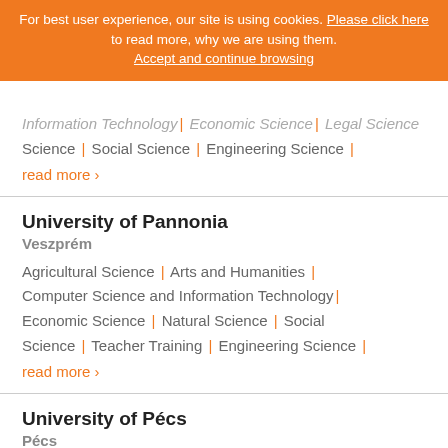For best user experience, our site is using cookies. Please click here to read more, why we are using them. Accept and continue browsing
Information Technology | Economic Science | Legal Science | Social Science | Engineering Science | read more >
University of Pannonia
Veszprém
Agricultural Science | Arts and Humanities | Computer Science and Information Technology | Economic Science | Natural Science | Social Science | Teacher Training | Engineering Science | read more >
University of Pécs
Pécs
Arts and Art Education | Arts and Humanities | Computer Science and Information Technology |